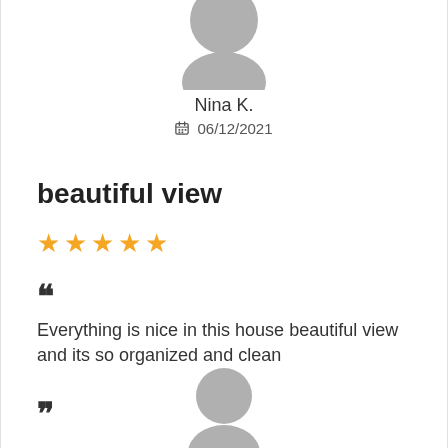[Figure (illustration): Gray placeholder avatar (top half of circle) cropped at top of page]
Nina K.
📅 06/12/2021
beautiful view
★★★★★ (5 stars, gold)
““
Everything is nice in this house beautiful view and its so organized and clean
””
[Figure (illustration): Gray placeholder avatar (full circle with head shape) at bottom of page, partially cropped]